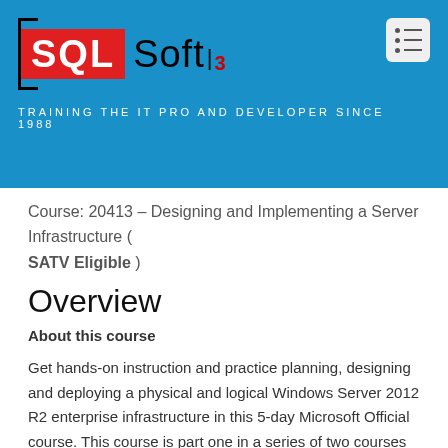[Figure (logo): SQLSoft3 logo on blue banner background with tagline 'TRAINING THE IT PRO AND DEVELOPER SINCE 1988']
Course: 20413 – Designing and Implementing a Server Infrastructure ( SATV Eligible )
Overview
About this course
Get hands-on instruction and practice planning, designing and deploying a physical and logical Windows Server 2012 R2 enterprise infrastructure in this 5-day Microsoft Official course. This course is part one in a series of two courses that provides the skills